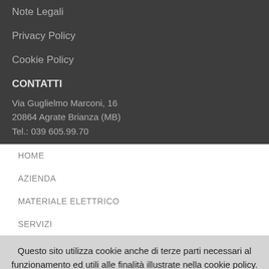Note Legali
Privacy Policy
Cookie Policy
CONTATTI
Via Guglielmo Marconi, 16
20864 Agrate Brianza (MB)
Tel.: 039 605.99.70
HOME
AZIENDA
MATERIALE ELETTRICO
SERVIZI
Questo sito utilizza cookie anche di terze parti necessari al funzionamento ed utili alle finalità illustrate nella cookie policy. Se vuoi saperne di più o negare il consenso a tutti o ad alcuni cookie, consulta la nostra cookie policy. Cliccando sul tasto ACCETTO dai il consenso all'utilizzo dei cookie, il messaggio sul banner verrà nascosto.